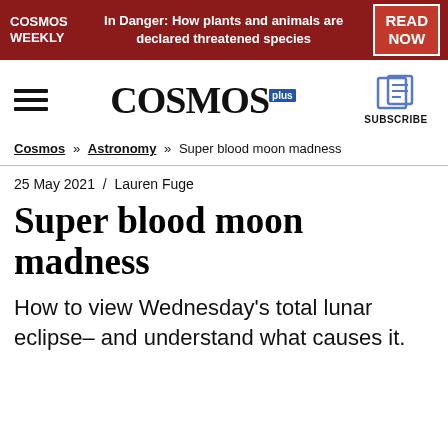COSMOS WEEKLY | In Danger: How plants and animals are declared threatened species | READ NOW
[Figure (logo): COSMOS Plus magazine logo with hamburger menu and subscribe button with book icon]
Cosmos » Astronomy » Super blood moon madness
25 May 2021  /  Lauren Fuge
Super blood moon madness
How to view Wednesday's total lunar eclipse– and understand what causes it.